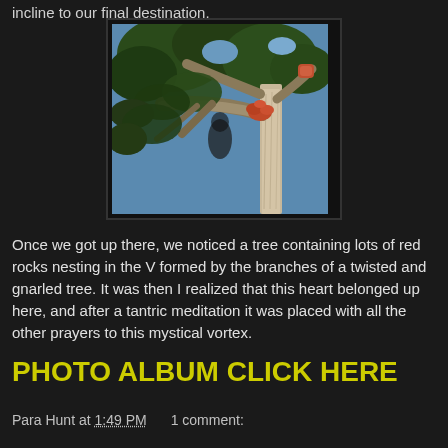incline to our final destination.
[Figure (photo): A twisted and gnarled tree with red rocks nestled in the V formed by its branches, photographed from below against a blue sky.]
Once we got up there, we noticed a tree containing lots of red rocks nesting in the V formed by the branches of a twisted and gnarled tree. It was then I realized that this heart belonged up here, and after a tantric meditation it was placed with all the other prayers to this mystical vortex.
PHOTO ALBUM CLICK HERE
Para Hunt at 1:49 PM   1 comment: